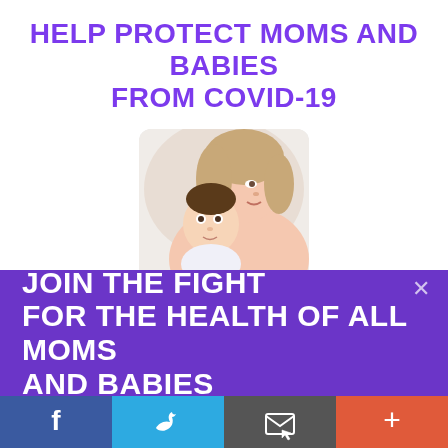HELP PROTECT MOMS AND BABIES FROM COVID-19
[Figure (photo): A mother holding and cuddling a baby, both looking peaceful]
Through the Mom and Baby COVID-19 Intervention and Support Fund, March of Dimes is addressing the urgent need to protect moms, babies and families from
JOIN THE FIGHT FOR THE HEALTH OF ALL MOMS AND BABIES
[Figure (infographic): Social sharing bar with Facebook, Twitter, email, and plus buttons]